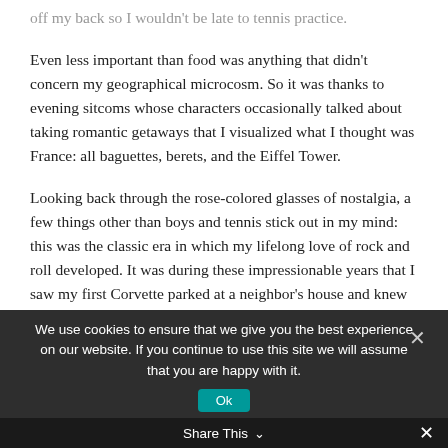off my back so I wouldn't be late to tennis practice.
Even less important than food was anything that didn't concern my geographical microcosm. So it was thanks to evening sitcoms whose characters occasionally talked about taking romantic getaways that I visualized what I thought was France: all baguettes, berets, and the Eiffel Tower.
Looking back through the rose-colored glasses of nostalgia, a few things other than boys and tennis stick out in my mind: this was the classic era in which my lifelong love of rock and roll developed. It was during these impressionable years that I saw my first Corvette parked at a neighbor's house and knew someday I would have one of those beauties all for myself. And I had also undoubtedly heard the name of what at that time was the most famous restaurant in the entire world:
We use cookies to ensure that we give you the best experience on our website. If you continue to use this site we will assume that you are happy with it.
Share This